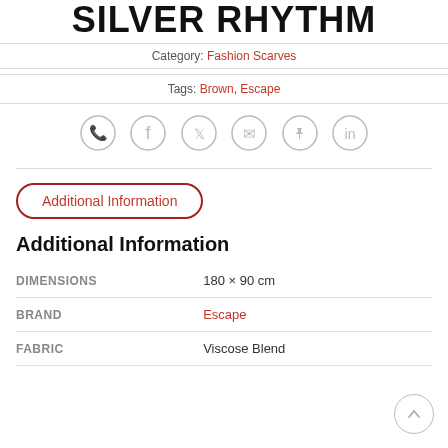Silver Rhythm
Category: Fashion Scarves
Tags: Brown, Escape
[Figure (infographic): Six social share icon circles: WhatsApp, Facebook, Twitter, Email, Pinterest, LinkedIn]
Additional Information
Additional Information
| DIMENSIONS | 180 × 90 cm |
| BRAND | Escape |
| FABRIC | Viscose Blend |